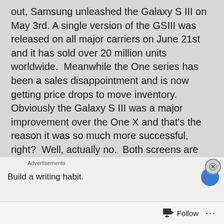out, Samsung unleashed the Galaxy S III on May 3rd. A single version of the GSIII was released on all major carriers on June 21st and it has sold over 20 million units worldwide.  Meanwhile the One series has been a sales disappointment and is now getting price drops to move inventory.  Obviously the Galaxy S III was a major improvement over the One X and that's the reason it was so much more successful, right?  Well, actually no.  Both screens are 720p, but the RGB Super LCD-2 unit on the One X is superior to the 720p pentile Super AMOLED unit on the GSIII.  The cameras are both 8mp and are pretty equivalent.  Battery life is similar.  The GSIII has an SD card slot and a removable battery, neither of which the One X has.  The GSIII also has 2GB
Advertisements
Build a writing habit.
Follow ···